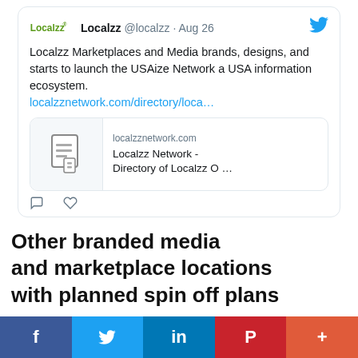[Figure (screenshot): Tweet from @localzz dated Aug 26 about Localzz Marketplaces and Media brands launching USAize Network, a USA information ecosystem, with a link preview card for localzznetwork.com showing 'Localzz Network - Directory of Localzz O ...']
Other branded media and marketplace locations with planned spin off plans
LocalzzAds.com
LocalzzBusinesses.com
[Figure (infographic): Social sharing bar with buttons: Facebook (f), Twitter (bird icon), LinkedIn (in), Pinterest (P), More (+)]